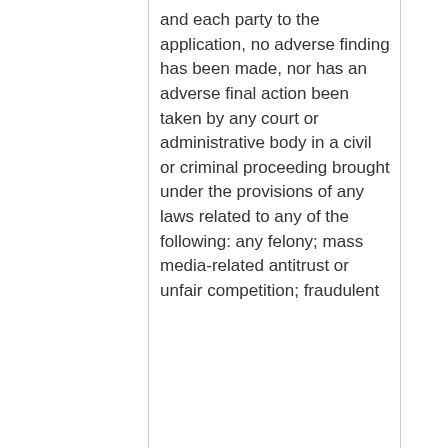and each party to the application, no adverse finding has been made, nor has an adverse final action been taken by any court or administrative body in a civil or criminal proceeding brought under the provisions of any laws related to any of the following: any felony; mass media-related antitrust or unfair competition; fraudulent